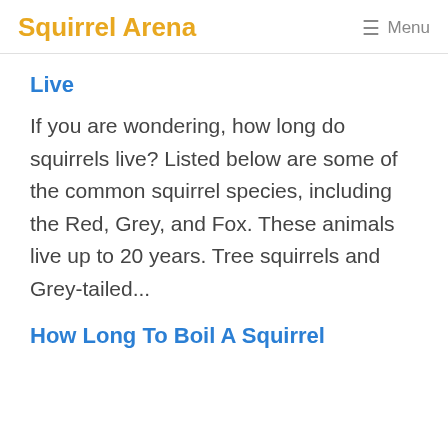Squirrel Arena  Menu
Live
If you are wondering, how long do squirrels live? Listed below are some of the common squirrel species, including the Red, Grey, and Fox. These animals live up to 20 years. Tree squirrels and Grey-tailed...
How Long To Boil A Squirrel